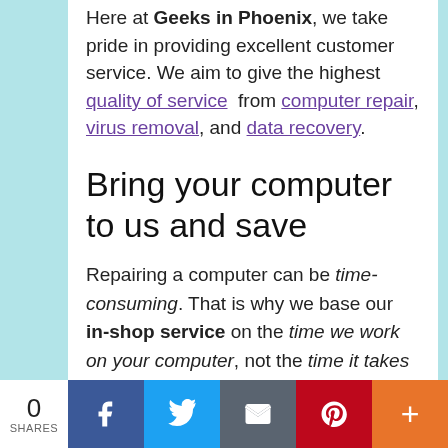Here at Geeks in Phoenix, we take pride in providing excellent customer service. We aim to give the highest quality of service from computer repair, virus removal, and data recovery.
Bring your computer to us and save
Repairing a computer can be time-consuming. That is why we base our in-shop service on the time we work on your computer, not the time it takes for your computer to work! From running memory checking software to scanning for viruses, these are processes that can take
0 SHARES | Facebook | Twitter | Email | Pinterest | More